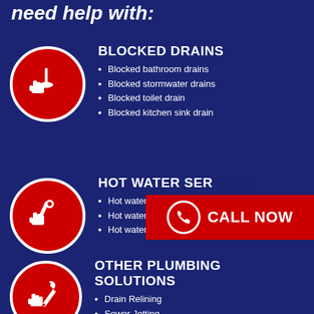need help with:
BLOCKED DRAINS
Blocked bathroom drains
Blocked stormwater drains
Blocked toilet drain
Blocked kitchen sink drain
[Figure (illustration): Red circle icon with white plunger and hand]
HOT WATER SER...
Hot water insta...
Hot water repa...
Hot water replacement
[Figure (illustration): Red circle icon with white wrench and hand]
[Figure (infographic): Red CALL NOW button with phone icon]
OTHER PLUMBING SOLUTIONS
Drain Relining
Sewer Jetting
Toilet Plumbing
[Figure (illustration): Red circle icon with white wrench/spanner and hand]